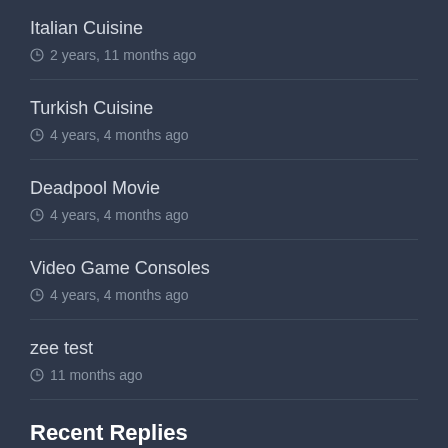Italian Cuisine
2 years, 11 months ago
Turkish Cuisine
4 years, 4 months ago
Deadpool Movie
4 years, 4 months ago
Video Game Consoles
4 years, 4 months ago
zee test
11 months ago
Recent Replies